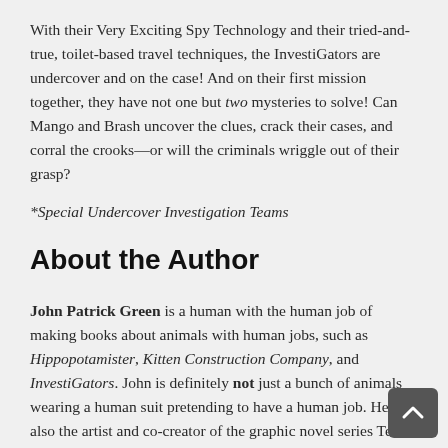With their Very Exciting Spy Technology and their tried-and-true, toilet-based travel techniques, the InvestiGators are undercover and on the case! And on their first mission together, they have not one but two mysteries to solve! Can Mango and Brash uncover the clues, crack their cases, and corral the crooks—or will the criminals wriggle out of their grasp?
*Special Undercover Investigation Teams
About the Author
John Patrick Green is a human with the human job of making books about animals with human jobs, such as Hippopotamister, Kitten Construction Company, and InvestiGators. John is definitely not just a bunch of animals wearing a human suit pretending to have a human job. He is also the artist and co-creator of the graphic novel series Teen Boat!, with writer Dave Roman. John